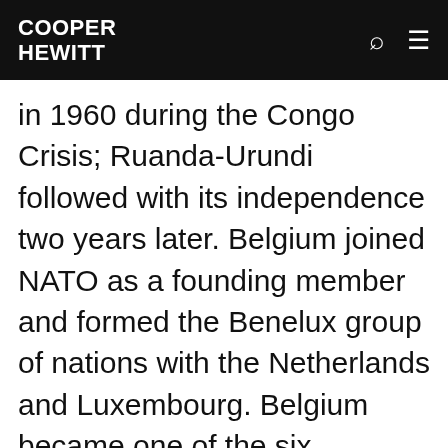COOPER HEWITT
in 1960 during the Congo Crisis; Ruanda-Urundi followed with its independence two years later. Belgium joined NATO as a founding member and formed the Benelux group of nations with the Netherlands and Luxembourg. Belgium became one of the six founding members of the European Coal and Steel Community in 1951 and of the European Atomic Energy Community and European Economic Community, established in 1957. The latter is now the European Union, for